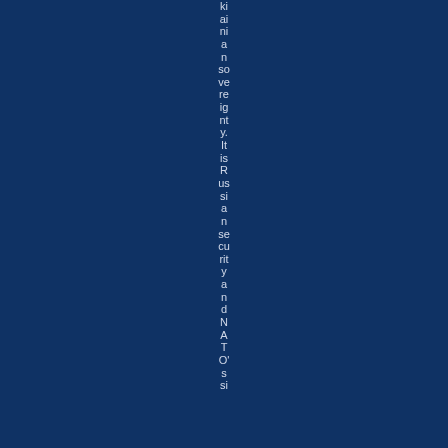krainian sovereignty. It is Russian security and NATO's si